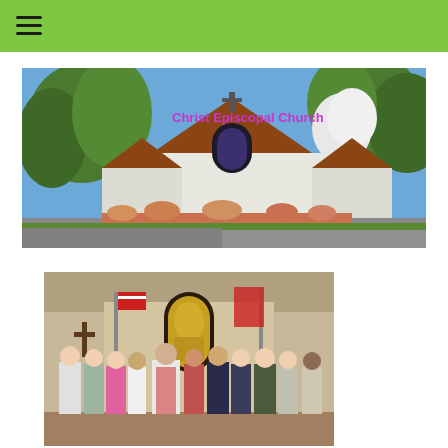Navigation header bar with hamburger menu
[Figure (photo): Exterior photo of Christ Episcopal Church building with brown roof, white walls, stained glass window, surrounded by green trees and flowering plants. The church name 'Christ Episcopal Church' appears in magenta/pink text overlaid on the upper right portion of the image.]
[Figure (photo): Group photo inside Christ Episcopal Church sanctuary. Multiple people standing together including clergy in white and red vestments, American flags visible, stained glass window in background. Group appears to be at a confirmation or special service ceremony.]